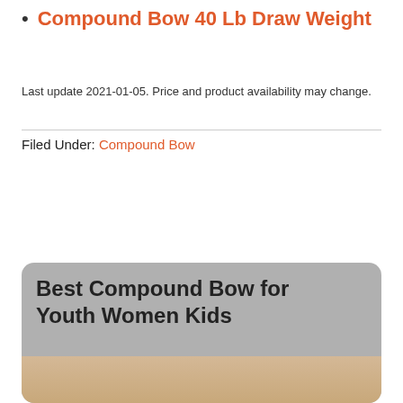Compound Bow 40 Lb Draw Weight
Last update 2021-01-05. Price and product availability may change.
Filed Under: Compound Bow
Best Compound Bow for Youth Women Kids